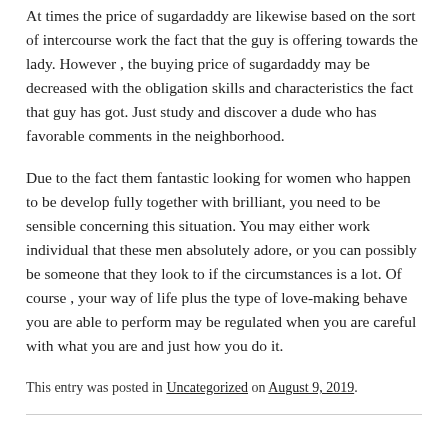At times the price of sugardaddy are likewise based on the sort of intercourse work the fact that the guy is offering towards the lady. However , the buying price of sugardaddy may be decreased with the obligation skills and characteristics the fact that guy has got. Just study and discover a dude who has favorable comments in the neighborhood.
Due to the fact them fantastic looking for women who happen to be develop fully together with brilliant, you need to be sensible concerning this situation. You may either work individual that these men absolutely adore, or you can possibly be someone that they look to if the circumstances is a lot. Of course , your way of life plus the type of love-making behave you are able to perform may be regulated when you are careful with what you are and just how you do it.
This entry was posted in Uncategorized on August 9, 2019.